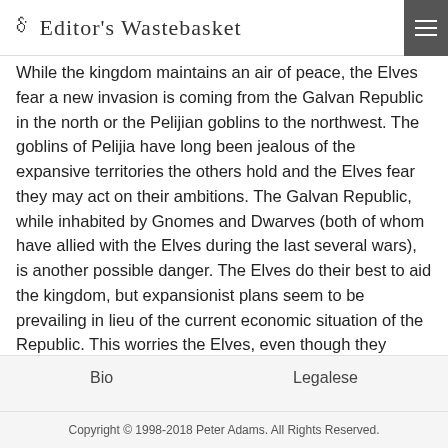The Editor's Wastebasket
While the kingdom maintains an air of peace, the Elves fear a new invasion is coming from the Galvan Republic in the north or the Pelijian goblins to the northwest. The goblins of Pelijia have long been jealous of the expansive territories the others hold and the Elves fear they may act on their ambitions. The Galvan Republic, while inhabited by Gnomes and Dwarves (both of whom have allied with the Elves during the last several wars), is another possible danger. The Elves do their best to aid the kingdom, but expansionist plans seem to be prevailing in lieu of the current economic situation of the Republic. This worries the Elves, even though they would have kingdoms believe otherwise.
The forests of Daedala are inhabited almost solely by Elves. Only scattered villages of humans and rarely encountered magical woodland creatures dwell in the region alongside the Elves. Along Sunder's Vein lie two massive Elven cities, and the river forms a front of sorts, it also…
Bio    Legalese
Copyright © 1998-2018 Peter Adams. All Rights Reserved.